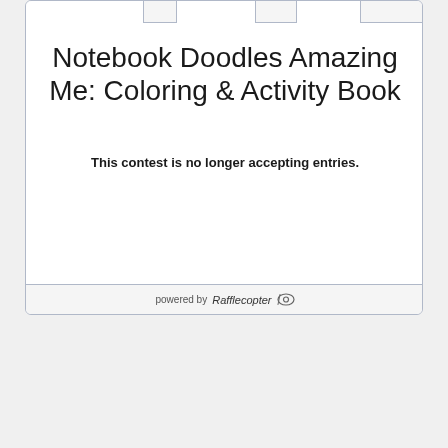Notebook Doodles Amazing Me: Coloring & Activity Book
This contest is no longer accepting entries.
powered by Rafflecopter